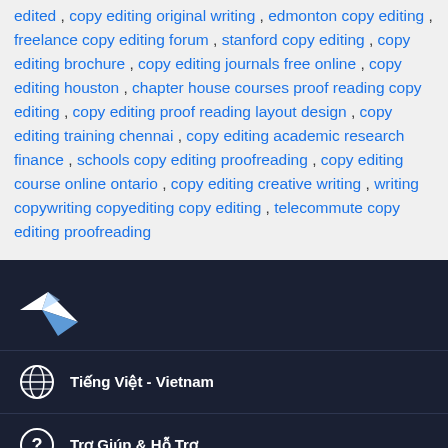edited , copy editing original writing , edmonton copy editing , freelance copy editing forum , stanford copy editing , copy editing brochure , copy editing journals free online , copy editing houston , chapter house courses proof reading copy editing , copy editing proof reading layout design , copy editing training chennai , copy editing academic research finance , schools copy editing proofreading , copy editing course online ontario , copy editing creative writing , writing copywriting copyediting copy editing , telecommute copy editing proofreading
[Figure (logo): Freelancer bird/arrow logo in white on dark navy background]
Tiếng Việt - Vietnam
Trợ Giúp & Hỗ Trợ